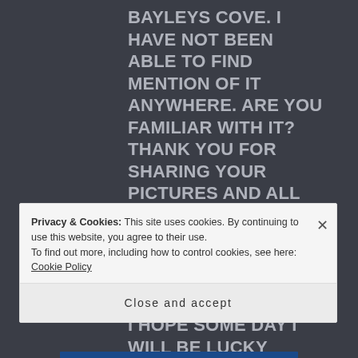BAYLEYS COVE. I HAVE NOT BEEN ABLE TO FIND MENTION OF IT ANYWHERE. ARE YOU FAMILIAR WITH IT? THANK YOU FOR SHARING YOUR PICTURES AND ALL THE INFORMATION YOU INCLUDED. IT REALLY LOOKS BEAUTIFUL IN YOUR PICTURES. I HOPE SOME DAY I WILL BE LUCKY ENOUGH TO SEE IT FOR MYSELF.
Privacy & Cookies: This site uses cookies. By continuing to use this website, you agree to their use. To find out more, including how to control cookies, see here: Cookie Policy
Close and accept